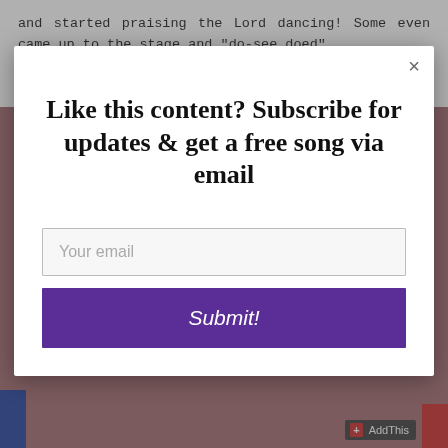and started praising the Lord dancing! Some even came up to the stage and "do-see doed".
How I Became A Christian:
[partially obscured text]
[Figure (screenshot): Modal popup dialog with title 'Like this content? Subscribe for updates & get a free song via email', an email input field with placeholder 'Your email', and a purple 'Submit!' button. A close button (×) is in the top right corner.]